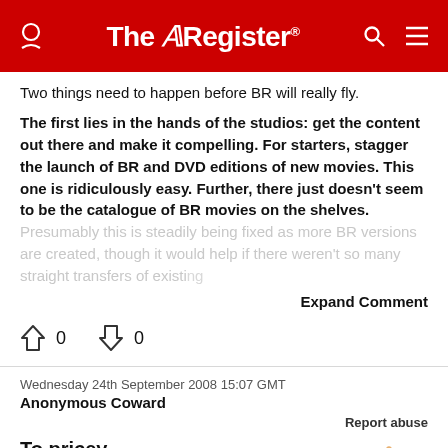The Register
Two things need to happen before BR will really fly. The first lies in the hands of the studios: get the content out there and make it compelling. For starters, stagger the launch of BR and DVD editions of new movies. This one is ridiculously easy. Further, there just doesn't seem to be the catalogue of BR movies on the shelves. Presumably this is steadily being fixed as more BR versions are created, though it would help if there weren't so many straight transfers of existing...
Expand Comment
0   0
Wednesday 24th September 2008 15:07 GMT
Anonymous Coward
Report abuse
To pricey
So BooRay is to expensive, well smack my face